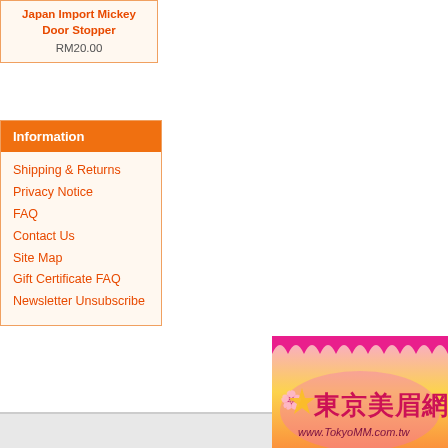Japan Import Mickey Door Stopper
RM20.00
Information
Shipping & Returns
Privacy Notice
FAQ
Contact Us
Site Map
Gift Certificate FAQ
Newsletter Unsubscribe
Your IP Address
Copyright © 2022
[Figure (logo): Tokyo beauty website banner with Chinese characters 東京美眉網 and URL www.TokyoMM.com.tw, pink and colorful scallop design]